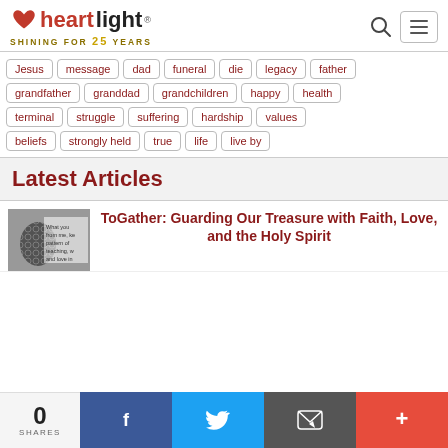Heartlight — Shining for 25 Years
Jesus
message
dad
funeral
die
legacy
father
grandfather
granddad
grandchildren
happy
health
terminal
struggle
suffering
hardship
values
beliefs
strongly held
true
life
live by
Latest Articles
ToGather: Guarding Our Treasure with Faith, Love, and the Holy Spirit
0 SHARES